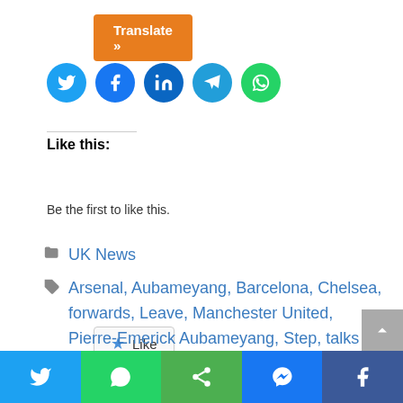[Figure (other): Orange Translate button with double arrow]
[Figure (other): Row of 5 social sharing circle icons: Twitter (light blue), Facebook (blue), LinkedIn (dark blue), Telegram (blue), WhatsApp (green)]
Like this:
[Figure (other): Like button with star icon]
Be the first to like this.
UK News
Arsenal, Aubameyang, Barcelona, Chelsea, forwards, Leave, Manchester United, Pierre-Emerick Aubameyang, Step, talks
Leave a comment
[Figure (other): Bottom share bar with Twitter, WhatsApp, Share, Messenger, Facebook icons]